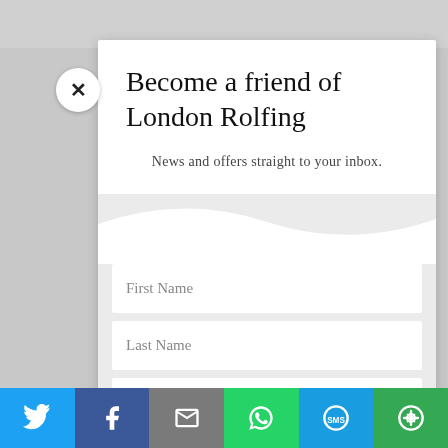Become a friend of London Rolfing
News and offers straight to your inbox.
[Figure (screenshot): Web modal/popup with newsletter signup form showing First Name, Last Name, and Email Address input fields, with a close (X) button, on a gray background]
Social share bar with Twitter, Facebook, Email, WhatsApp, SMS, and More buttons